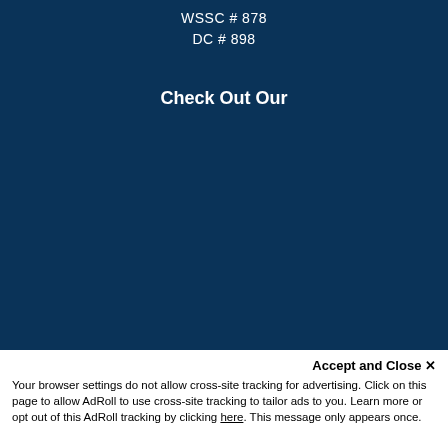WSSC # 878
DC # 898
Check Out Our
Accept and Close ✕
Your browser settings do not allow cross-site tracking for advertising. Click on this page to allow AdRoll to use cross-site tracking to tailor ads to you. Learn more or opt out of this AdRoll tracking by clicking here. This message only appears once.